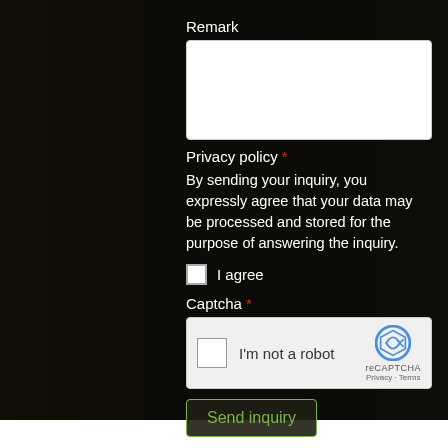Remark
Privacy policy *
By sending your inquiry, you expressly agree that your data may be processed and stored for the purpose of answering the inquiry.
I agree
Captcha *
[Figure (other): reCAPTCHA widget with checkbox and 'I'm not a robot' text, reCAPTCHA logo, Privacy and Terms links]
Send inquiry